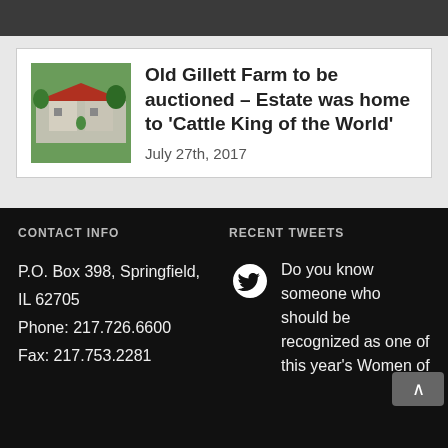[Figure (photo): Aerial photo of old farm buildings with red roofs surrounded by green trees]
Old Gillett Farm to be auctioned – Estate was home to 'Cattle King of the World'
July 27th, 2017
CONTACT INFO
P.O. Box 398, Springfield, IL 62705
Phone: 217.726.6600
Fax: 217.753.2281
RECENT TWEETS
Do you know someone who should be recognized as one of this year's Women of